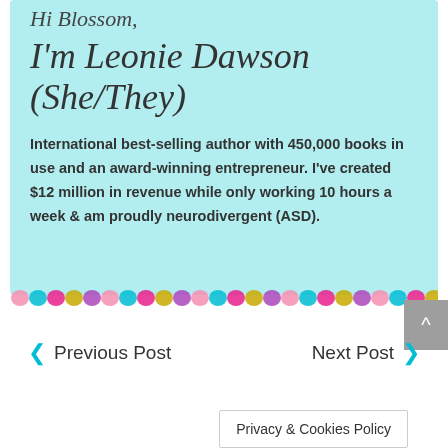Hi Blossom,
I'm Leonie Dawson (She/They)
International best-selling author with 450,000 books in use and an award-winning entrepreneur. I've created $12 million in revenue while only working 10 hours a week & am proudly neurodivergent (ASD).
[Figure (illustration): Colorful confetti/scale pattern strip decoration]
Previous Post
Next Post
Privacy & Cookies Policy